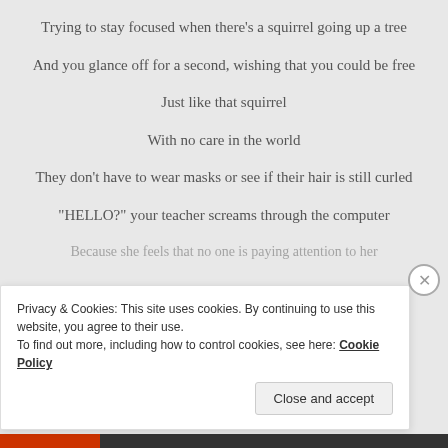Trying to stay focused when there's a squirrel going up a tree
And you glance off for a second, wishing that you could be free
Just like that squirrel
With no care in the world
They don't have to wear masks or see if their hair is still curled
“HELLO?” your teacher screams through the computer
Because she feels that no one is paying attention to her
Privacy & Cookies: This site uses cookies. By continuing to use this website, you agree to their use.
To find out more, including how to control cookies, see here: Cookie Policy
Close and accept